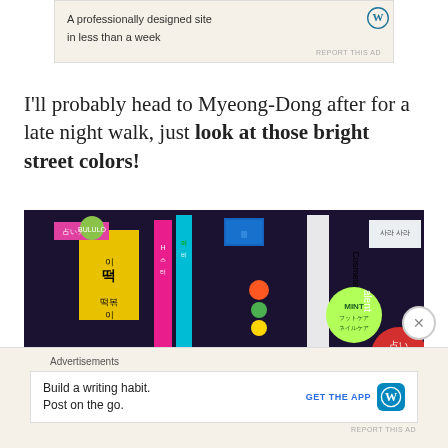[Figure (screenshot): Top advertisement banner with WordPress logo and text about professionally designed sites in less than a week. Includes REPORT THIS AD link.]
I'll probably head to Myeong-Dong after for a late night walk, just look at those bright street colors!
[Figure (photo): Colorful night-time street photo of Myeong-Dong, Seoul, South Korea, filled with bright neon signs in Korean and other Asian languages. Signs include 占いカフェ, BULULO, 이떡, 떡볶이, Cosmetic, MINT, 占いカフェ, 사라사라 and many more colorful illuminated signs.]
[Figure (screenshot): Bottom advertisement banner for WordPress app. Text: Build a writing habit. Post on the go. GET THE APP button with WordPress logo. Labeled Advertisements.]